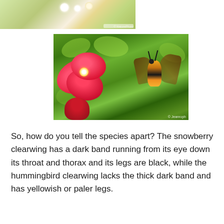[Figure (photo): Partial top photo showing white flowers and green foliage (cropped, top portion of previous image)]
[Figure (photo): A hummingbird clearwing moth hovering near a red flower with green leaves in the background]
So, how do you tell the species apart? The snowberry clearwing has a dark band running from its eye down its throat and thorax and its legs are black, while the hummingbird clearwing lacks the thick dark band and has yellowish or paler legs.